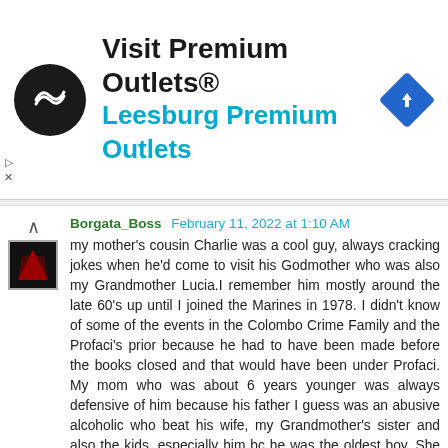[Figure (other): Advertisement banner for Visit Premium Outlets® — Leesburg Premium Outlets, with a circular black logo with navigation arrows, text in black and cyan, and a diamond-shaped blue navigation icon on the right.]
Borgata_Boss  February 11, 2022 at 1:10 AM

my mother's cousin Charlie was a cool guy, always cracking jokes when he'd come to visit his Godmother who was also my Grandmother Lucia.I remember him mostly around the late 60's up until I joined the Marines in 1978. I didn't know of some of the events in the Colombo Crime Family and the Profaci's prior because he had to have been made before the books closed and that would have been under Profaci. My mom who was about 6 years younger was always defensive of him because his father I guess was an abusive alcoholic who beat his wife, my Grandmother's sister and also the kids, especially him bc he was the oldest boy. She said later in life when we talked about him that if he was mean it was because his father made him that way. I told her that I had read that he cut someone's balls